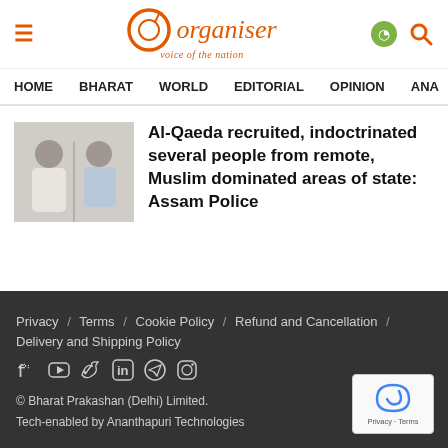Organiser — voice of the nation
HOME  BHARAT  WORLD  EDITORIAL  OPINION  ANA
[Figure (photo): Two individuals, one in white robe, photo used in article about Al-Qaeda recruits in Assam]
Al-Qaeda recruited, indoctrinated several people from remote, Muslim dominated areas of state: Assam Police
Privacy / Terms / Cookie Policy / Refund and Cancellation / Delivery and Shipping Policy
© Bharat Prakashan (Delhi) Limited.
Tech-enabled by Ananthapuri Technologies